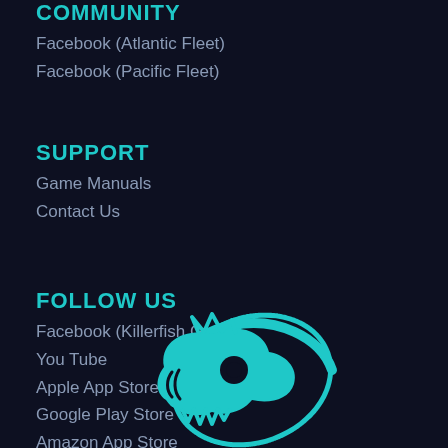COMMUNITY
Facebook (Atlantic Fleet)
Facebook (Pacific Fleet)
SUPPORT
Game Manuals
Contact Us
FOLLOW US
Facebook (Killerfish Games)
You Tube
Apple App Store
Google Play Store
Amazon App Store
[Figure (logo): Killerfish Games logo — teal/cyan stylized anglerfish skull with circular swoosh on dark background]